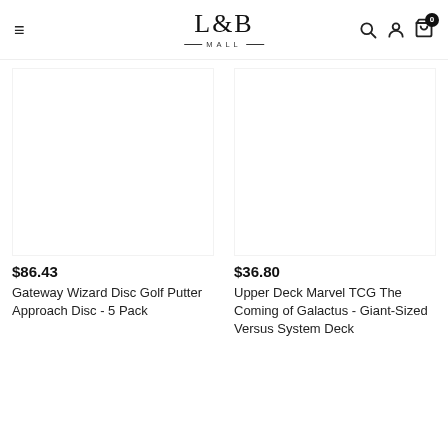L&B MALL
$86.43
Gateway Wizard Disc Golf Putter Approach Disc - 5 Pack
$36.80
Upper Deck Marvel TCG The Coming of Galactus - Giant-Sized Versus System Deck